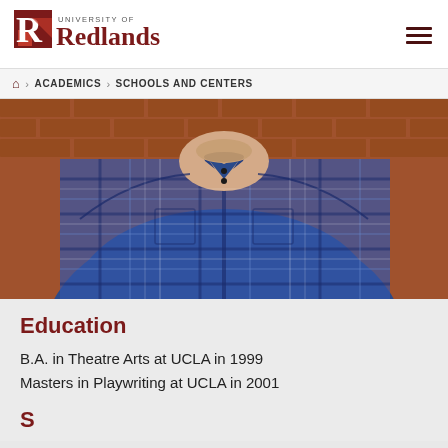University of Redlands
🏠 › ACADEMICS › SCHOOLS AND CENTERS
[Figure (photo): Headshot of a man wearing a blue plaid shirt, standing in front of a brick wall. The photo is cropped at the chin/neck area.]
Education
B.A. in Theatre Arts at UCLA in 1999
Masters in Playwriting at UCLA in 2001
S...